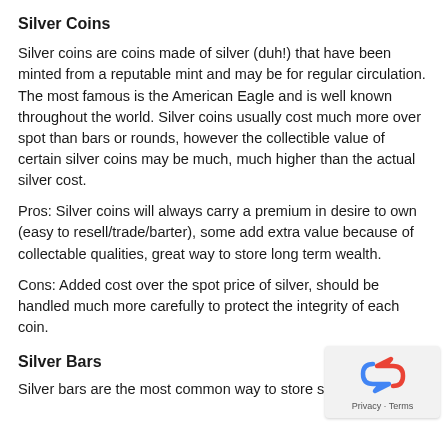Silver Coins
Silver coins are coins made of silver (duh!) that have been minted from a reputable mint and may be for regular circulation. The most famous is the American Eagle and is well known throughout the world. Silver coins usually cost much more over spot than bars or rounds, however the collectible value of certain silver coins may be much, much higher than the actual silver cost.
Pros: Silver coins will always carry a premium in desire to own (easy to resell/trade/barter), some add extra value because of collectable qualities, great way to store long term wealth.
Cons: Added cost over the spot price of silver, should be handled much more carefully to protect the integrity of each coin.
Silver Bars
Silver bars are the most common way to store silver for...